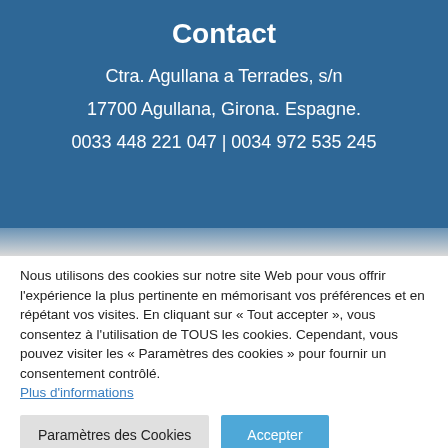Contact
Ctra. Agullana a Terrades, s/n
17700 Agullana, Girona. Espagne.
0033 448 221 047 | 0034 972 535 245
Nous utilisons des cookies sur notre site Web pour vous offrir l'expérience la plus pertinente en mémorisant vos préférences et en répétant vos visites. En cliquant sur « Tout accepter », vous consentez à l'utilisation de TOUS les cookies. Cependant, vous pouvez visiter les « Paramètres des cookies » pour fournir un consentement contrôlé.
Plus d'informations
Paramètres des Cookies
Accepter